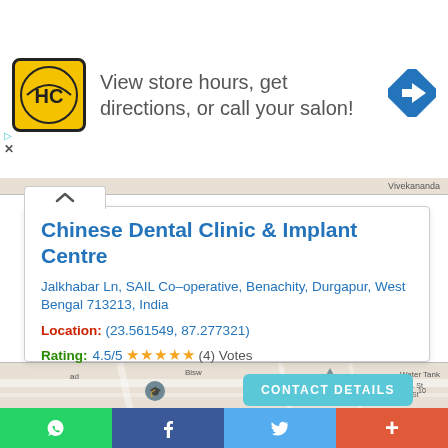[Figure (screenshot): Advertisement banner with HC logo (Hair Club) in yellow rounded square, text 'View store hours, get directions, or call your salon!', blue diamond navigation arrow icon on right, and close (X) button at bottom left]
Chinese Dental Clinic & Implant Centre
Jalkhabar Ln, SAIL Co-operative, Benachity, Durgapur, West Bengal 713213, India
Location: (23.561549, 87.277321)
Rating: 4.5/5 ★★★★★ (4) Votes
[Figure (map): Partial street map showing local area near the clinic location]
[Figure (screenshot): Social share bar with WhatsApp (green), Facebook (blue), Twitter (light blue), and More (red-orange) buttons]